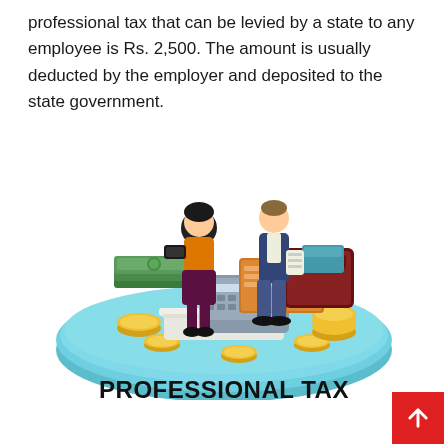professional tax that can be levied by a state to any employee is Rs. 2,500. The amount is usually deducted by the employer and deposited to the state government.
[Figure (illustration): Isometric illustration of two business professionals (a woman in orange and a man in a suit) standing on a teal circular platform surrounded by stacks of money, gold coins, a calculator, books, and a wallet — representing professional tax.]
PROFESSIONAL TAX